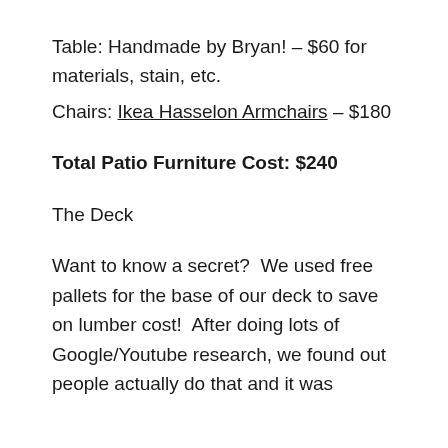Table: Handmade by Bryan! – $60 for materials, stain, etc.
Chairs: Ikea Hasselon Armchairs – $180
Total Patio Furniture Cost: $240
The Deck
Want to know a secret?  We used free pallets for the base of our deck to save on lumber cost!  After doing lots of Google/Youtube research, we found out people actually do that and it was